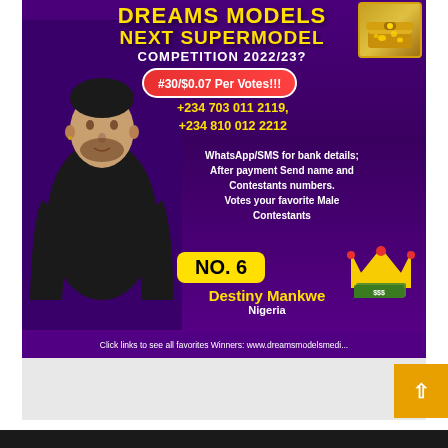DREAMS MODELS NEXT SUPERMODEL COMPETITION 2022/23?
#30/$0.07 Per Votes!!!
+234 703 011 2119, +234 810 012 2212
WhatsApp/SMS for bank details; After payment Send name and Contestants numbers. Votes your favorite Male Contestants
NO. 6
Destiny Mankwe
Nigeria
Click links to see all favorites Winners: www.dreamsmodelsmedi...